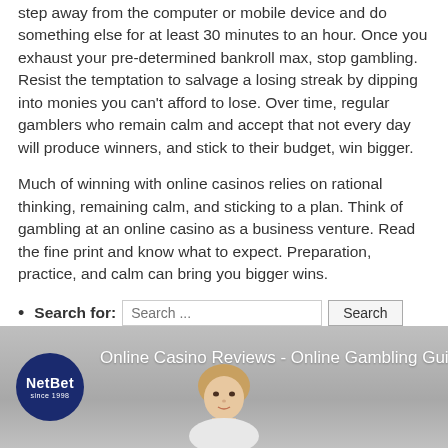step away from the computer or mobile device and do something else for at least 30 minutes to an hour. Once you exhaust your pre-determined bankroll max, stop gambling. Resist the temptation to salvage a losing streak by dipping into monies you can't afford to lose. Over time, regular gamblers who remain calm and accept that not every day will produce winners, and stick to their budget, win bigger.
Much of winning with online casinos relies on rational thinking, remaining calm, and sticking to a plan. Think of gambling at an online casino as a business venture. Read the fine print and know what to expect. Preparation, practice, and calm can bring you bigger wins.
Search for: [Search ...] Search
RSS Around The Web
[Figure (screenshot): Video banner with NetBet logo (dark blue circle with 'NetBet since 1998' text) and title 'Online Casino Reviews - Online Gambling Guid...' with a woman's face visible at the bottom center]